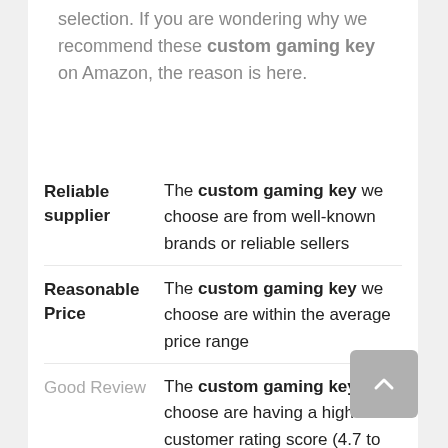selection. If you are wondering why we recommend these custom gaming key on Amazon, the reason is here.
Reliable supplier — The custom gaming key we choose are from well-known brands or reliable sellers
Reasonable Price — The custom gaming key we choose are within the average price range
Good Review — The custom gaming key we choose are having a high customer rating score (4.7 to 5.0)
Detailed Description — The custom gaming key we choose are with the detailed product description and